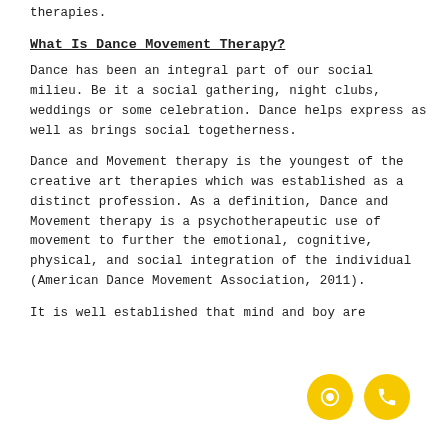therapies.
What Is Dance Movement Therapy?
Dance has been an integral part of our social milieu. Be it a social gathering, night clubs, weddings or some celebration. Dance helps express as well as brings social togetherness.
Dance and Movement therapy is the youngest of the creative art therapies which was established as a distinct profession. As a definition, Dance and Movement therapy is a psychotherapeutic use of movement to further the emotional, cognitive, physical, and social integration of the individual (American Dance Movement Association, 2011).
It is well established that mind and boy are